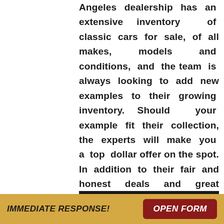Angeles dealership has an extensive inventory of classic cars for sale, of all makes, models and conditions, and the team is always looking to add new examples to their growing inventory. Should your example fit their collection, the experts will make you a top dollar offer on the spot. In addition to their fair and honest deals and great service, the Alex Manos team is known for sharing valuable tips and advice with their clients and friends.
IMMEDIATE RESPONSE!
OPEN FORM